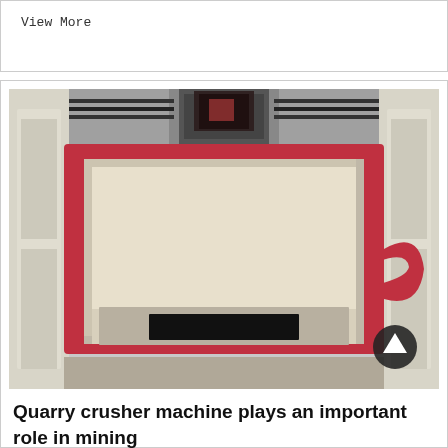View More
[Figure (photo): Top-down view of an industrial quarry crusher machine. The image shows a large red-framed rectangular crusher box with a cream/beige interior, a black opening at the bottom center, mounted on a frame with mechanical components visible. A person in dark clothing is visible at the top of the machine. A dark circular scroll-up button is visible at the bottom right of the image.]
Quarry crusher machine plays an important role in mining